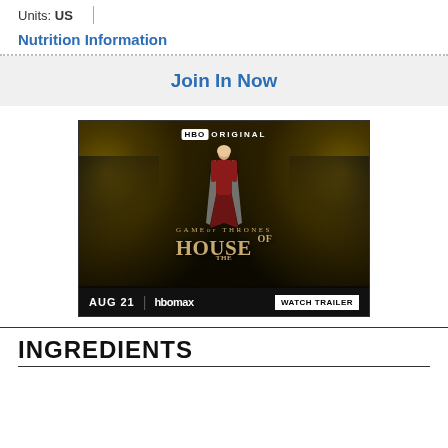Units: US
Nutrition Information
Join In Now
[Figure (photo): HBO Original advertisement for 'Game of Thrones: House of the Dragon' showing a young woman in red dress standing before two large dragons. Bottom bar shows 'AUG 21 | hbomax WATCH TRAILER']
INGREDIENTS